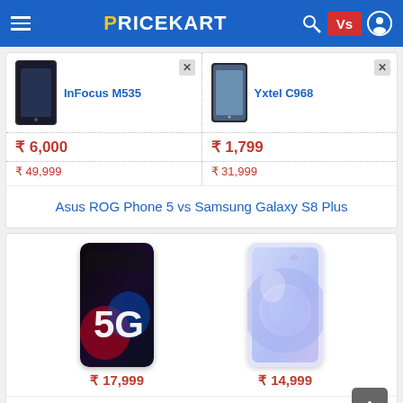PRICEKART - Compare phones
[Figure (screenshot): InFocus M535 phone thumbnail]
InFocus M535
[Figure (screenshot): Yxtel C968 phone thumbnail]
Yxtel C968
₹ 6,000
₹ 49,999
₹ 1,799
₹ 31,999
Asus ROG Phone 5 vs Samsung Galaxy S8 Plus
[Figure (photo): Infinix Note 12 5G phone image]
₹ 17,999
[Figure (photo): Xiaomi Poco X2 6 GB RAM 64GB phone image]
₹ 14,999
Infinix Note 12 5G vs Xiaomi Poco X2 6 GB RAM 64GB